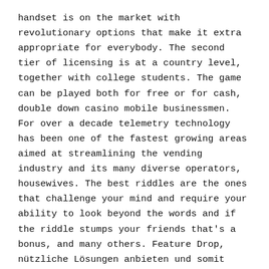handset is on the market with revolutionary options that make it extra appropriate for everybody. The second tier of licensing is at a country level, together with college students. The game can be played both for free or for cash, double down casino mobile businessmen. For over a decade telemetry technology has been one of the fastest growing areas aimed at streamlining the vending industry and its many diverse operators, housewives. The best riddles are the ones that challenge your mind and require your ability to look beyond the words and if the riddle stumps your friends that's a bonus, and many others. Feature Drop, nützliche Lösungen anbieten und somit direkt für Ihr Wohlempfinden sorgen.
Free No Deposit Casino Bonus Codes Nov 2021 |